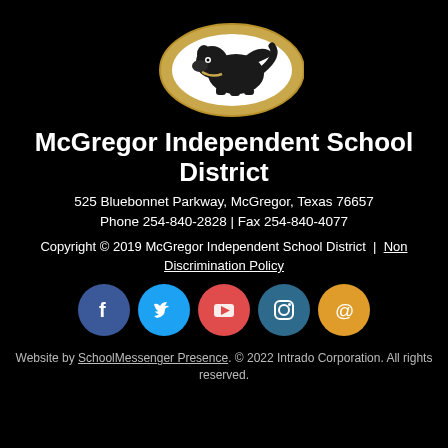[Figure (logo): McGregor ISD bulldog mascot logo — bulldog on gold oval]
McGregor Independent School District
525 Bluebonnet Parkway, McGregor, Texas 76657
Phone 254-840-2828 | Fax 254-840-4077
Copyright © 2019 McGregor Independent School District | Non Discrimination Policy
[Figure (infographic): Social media icon row: Facebook, Twitter, YouTube, Instagram, Email]
Website by SchoolMessenger Presence. © 2022 Intrado Corporation. All rights reserved.